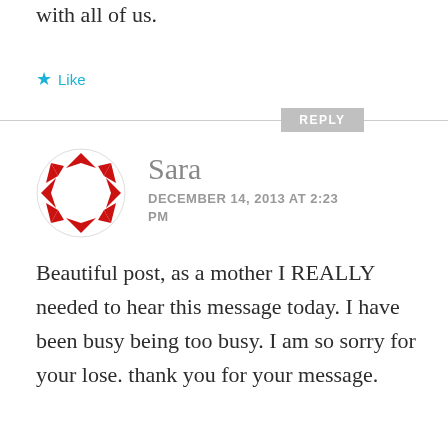with all of us.
★ Like
REPLY
[Figure (logo): Red decorative circular avatar logo with geometric pattern]
Sara
DECEMBER 14, 2013 AT 2:23 PM
Beautiful post, as a mother I REALLY needed to hear this message today. I have been busy being too busy. I am so sorry for your lose. thank you for your message.